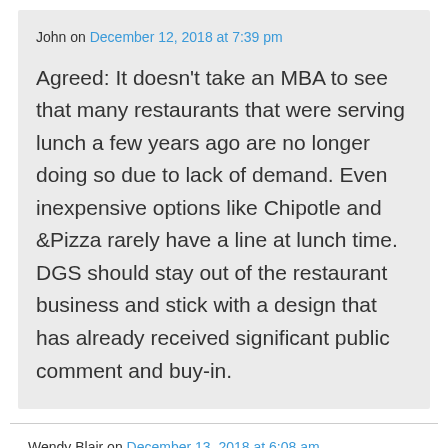John on December 12, 2018 at 7:39 pm
Agreed: It doesn't take an MBA to see that many restaurants that were serving lunch a few years ago are no longer doing so due to lack of demand. Even inexpensive options like Chipotle and &Pizza rarely have a line at lunch time. DGS should stay out of the restaurant business and stick with a design that has already received significant public comment and buy-in.
Wendy Blair on December 13, 2018 at 6:08 am
Again, why specify that there be any lawns in the